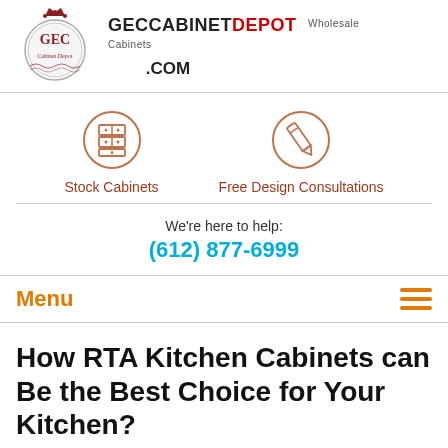[Figure (logo): GEC Cabinet Depot logo with circular emblem and brand name GeccabinetDepot.com with Wholesale Cabinets tagline]
[Figure (infographic): Two circular icons: a cabinet/drawer icon labeled Stock Cabinets and a pencil/design icon labeled Free Design Consultations]
We're here to help:
(612) 877-6999
Menu
How RTA Kitchen Cabinets can Be the Best Choice for Your Kitchen?
RTA kitchen cabinets is the best choice for all savvy remodelers. They offer an ideal balance of affordability and customization to homeowners searching for quality without